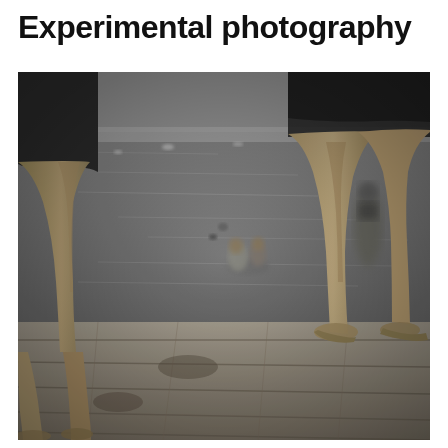Experimental photography
[Figure (photo): Black and white photograph taken from a low angle showing the legs and lower bodies of two people standing on a wooden dock or pier. In the background, a body of water with swimmers and bathers can be seen, as well as a child sitting on a float or small boat. The photo has a classic experimental/artistic composition typical of mid-20th century photography.]